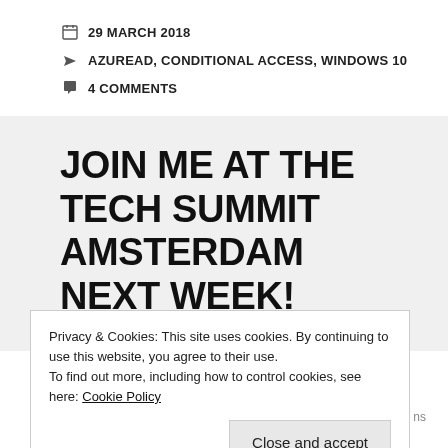29 MARCH 2018
AZUREAD, CONDITIONAL ACCESS, WINDOWS 10
4 COMMENTS
JOIN ME AT THE TECH SUMMIT AMSTERDAM NEXT WEEK!
Next week I will be speaking on the Microsoft Tech Summit which takes place in the Amsterdam RAI. On Wednesday the 28th I will be speaking about
Privacy & Cookies: This site uses cookies. By continuing to use this website, you agree to their use.
To find out more, including how to control cookies, see here: Cookie Policy
Close and accept
will also be present on the ‘Ask-the-Experts’